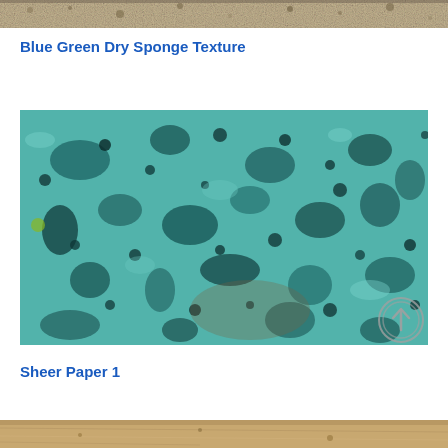[Figure (photo): Top cropped portion of a beige/tan porous stone or sponge texture image]
Blue Green Dry Sponge Texture
[Figure (photo): Close-up macro photo of a blue-green dry sponge texture showing porous surface with many holes and cavities. A circular arrow/upload icon watermark is visible in the bottom right corner.]
Sheer Paper 1
[Figure (photo): Bottom cropped portion of a sandy/beige fibrous texture image]